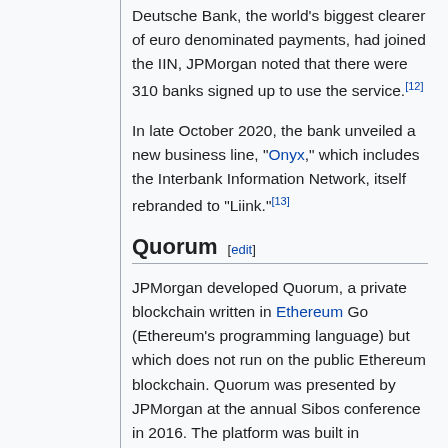Deutsche Bank, the world's biggest clearer of euro denominated payments, had joined the IIN, JPMorgan noted that there were 310 banks signed up to use the service.[12]
In late October 2020, the bank unveiled a new business line, "Onyx," which includes the Interbank Information Network, itself rebranded to "Liink."[13]
Quorum [edit]
JPMorgan developed Quorum, a private blockchain written in Ethereum Go (Ethereum's programming language) but which does not run on the public Ethereum blockchain. Quorum was presented by JPMorgan at the annual Sibos conference in 2016. The platform was built in conjunction with EthLab and was made open source.[14] In April 2018